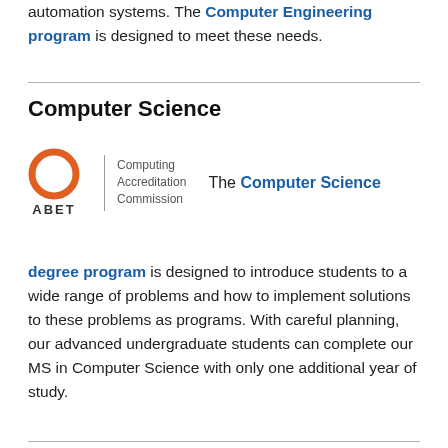automation systems. The Computer Engineering program is designed to meet these needs.
Computer Science
[Figure (logo): ABET Computing Accreditation Commission logo with orange circle and ABET text, followed by vertical divider and 'Computing Accreditation Commission' text. Next to it: 'The Computer Science']
degree program is designed to introduce students to a wide range of problems and how to implement solutions to these problems as programs. With careful planning, our advanced undergraduate students can complete our MS in Computer Science with only one additional year of study.